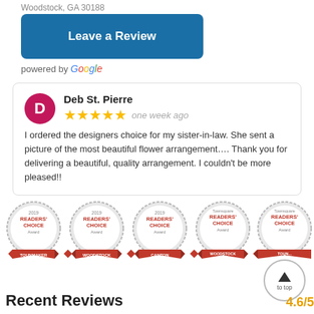Woodstock, GA 30188
Leave a Review
powered by Google
Deb St. Pierre
★★★★★ one week ago
I ordered the designers choice for my sister-in-law. She sent a picture of the most beautiful flower arrangement.... Thank you for delivering a beautiful, quality arrangement. I couldn't be more pleased!!
[Figure (infographic): Five red and silver Readers' Choice Award badges for 2019 and 2020 from Woodstock, Canton, and Townsquare, arranged in a horizontal row with red ribbon banners underneath.]
Recent Reviews
4.6/5